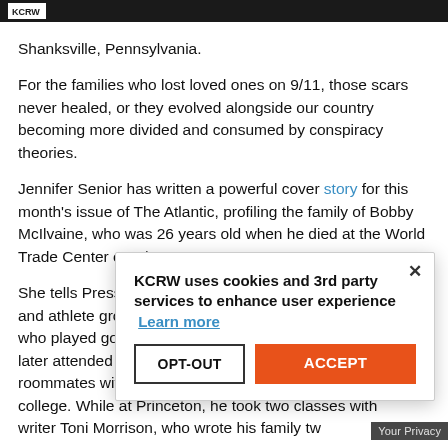KCRW logo header
Shanksville, Pennsylvania.
For the families who lost loved ones on 9/11, those scars never healed, or they evolved alongside our country becoming more divided and consumed by conspiracy theories.
Jennifer Senior has written a powerful cover story for this month's issue of The Atlantic, profiling the family of Bobby McIlvaine, who was 26 years old when he died at the World Trade Center on 9/11.
She tells Press Play that McIlvaine was an ace student and athlete growing up in the Philadelphia suburbs, who played golf with excellence at high school. He later attended Princeton University, where he became roommates with Senior's brother on the first day of college. While at Princeton, he took two classes with writer Toni Morrison, who wrote his family tw
KCRW uses cookies and 3rd party services to enhance user experience Learn more OPT-OUT ACCEPT